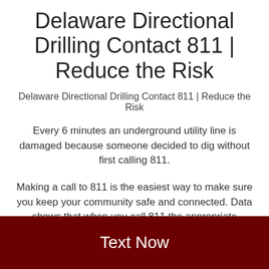Delaware Directional Drilling Contact 811 | Reduce the Risk
Delaware Directional Drilling Contact 811 | Reduce the Risk
Every 6 minutes an underground utility line is damaged because someone decided to dig without first calling 811.
Making a call to 811 is the easiest way to make sure you keep your community safe and connected. Data shows that when you call 811 the appropriate amount of time before digging, you have a less than 1% chance of striking a buried utility line.
Text Now